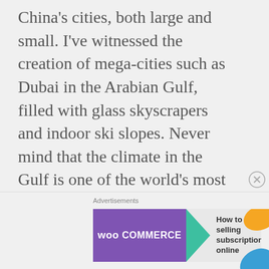China's cities, both large and small. I've witnessed the creation of mega-cities such as Dubai in the Arabian Gulf, filled with glass skyscrapers and indoor ski slopes. Never mind that the climate in the Gulf is one of the world's most inhospitable. I've smelled the stench emitted by vast rivers fouled by raw sewage and garbage. And perhaps most disturbing, I've seen vast expanses of the planet's most biologically diverse rain forest in SE Asia and South
[Figure (other): WooCommerce advertisement banner with purple logo box, teal arrow, and text 'How to start selling subscriptions online']